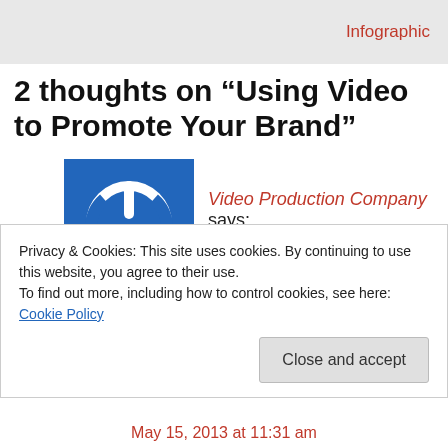Infographic
2 thoughts on “Using Video to Promote Your Brand”
Video Production Company says:
May 15, 2013 at 9:55 am
Great advice and examples, shows just how many uses there are for corporate videos, it’s not all about selling a
Privacy & Cookies: This site uses cookies. By continuing to use this website, you agree to their use.
To find out more, including how to control cookies, see here: Cookie Policy
Close and accept
May 15, 2013 at 11:31 am